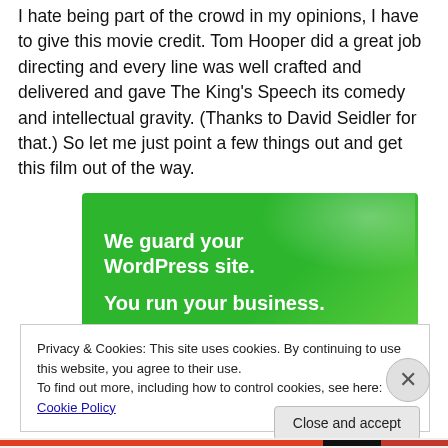I hate being part of the crowd in my opinions, I have to give this movie credit. Tom Hooper did a great job directing and every line was well crafted and delivered and gave The King's Speech its comedy and intellectual gravity. (Thanks to David Seidler for that.) So let me just point a few things out and get this film out of the way.
[Figure (other): Green advertisement banner reading 'We guard your WordPress site. You run your business.']
Privacy & Cookies: This site uses cookies. By continuing to use this website, you agree to their use.
To find out more, including how to control cookies, see here: Cookie Policy
Close and accept